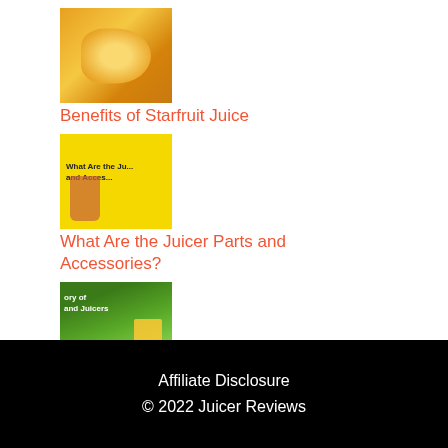[Figure (photo): Thumbnail image of starfruit]
Benefits of Starfruit Juice
[Figure (photo): Thumbnail image with text 'What Are the Juicer Parts and Accessories?' and a juice glass]
What Are the Juicer Parts and Accessories?
[Figure (photo): Thumbnail image with text 'History of Juicing and Juicers' and a hand holding a glass of juice]
The History of Juicing and Juicers
Affiliate Disclosure
© 2022 Juicer Reviews